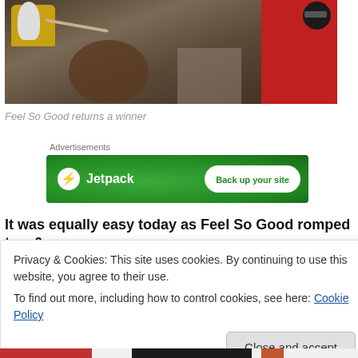[Figure (photo): A horse with a jockey wearing yellow and white gear, with a person in a red jacket visible on the right side.]
Feel So Good returns a winner
Advertisements
[Figure (other): Jetpack advertisement banner with green background, Jetpack logo and 'Back up your site' button]
It was equally easy today as Feel So Good romped to a 6
Privacy & Cookies: This site uses cookies. By continuing to use this website, you agree to their use.
To find out more, including how to control cookies, see here: Cookie Policy
Close and accept